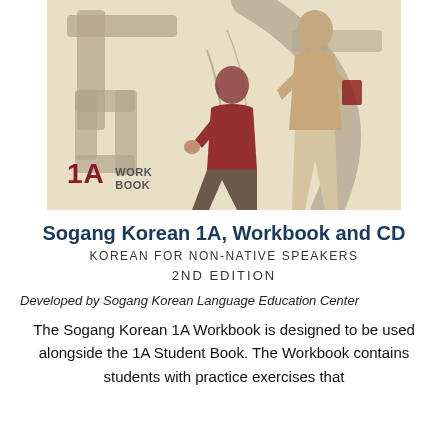[Figure (illustration): Book cover for Sogang Korean 1A Workbook and CD. Beige/cream background with large decorative Korean characters in taupe/gray. Two young men in conversation — one seated, one standing holding a book. Label in lower left reads '1A WORK BOOK' in dark red and gray text.]
Sogang Korean 1A, Workbook and CD
KOREAN FOR NON-NATIVE SPEAKERS
2ND EDITION
Developed by Sogang Korean Language Education Center
The Sogang Korean 1A Workbook is designed to be used alongside the 1A Student Book. The Workbook contains students with practice exercises that